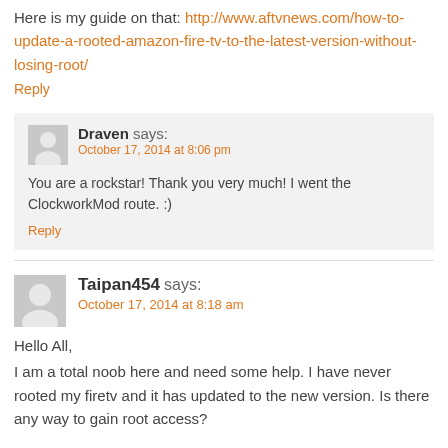Here is my guide on that: http://www.aftvnews.com/how-to-update-a-rooted-amazon-fire-tv-to-the-latest-version-without-losing-root/
Reply
Draven says:
October 17, 2014 at 8:06 pm
You are a rockstar! Thank you very much! I went the ClockworkMod route. :)
Reply
Taipan454 says:
October 17, 2014 at 8:18 am
Hello All,
I am a total noob here and need some help. I have never rooted my firetv and it has updated to the new version. Is there any way to gain root access?